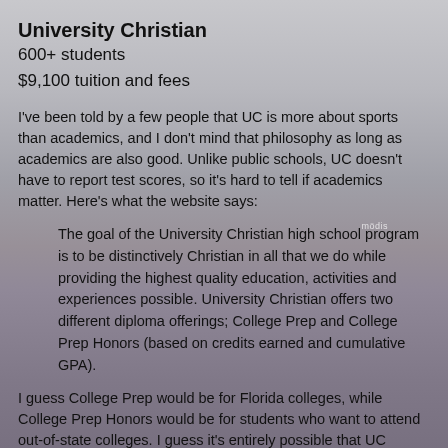University Christian
600+ students
$9,100 tuition and fees
I've been told by a few people that UC is more about sports than academics, and I don't mind that philosophy as long as academics are also good. Unlike public schools, UC doesn't have to report test scores, so it's hard to tell if academics matter. Here's what the website says:
The goal of the University Christian high school program is to be distinctively Christian in all that we do while providing the highest quality education, activities and experiences possible. University Christian offers two different diploma offerings; College Prep and College Prep Honors (based on credits earned and cumulative GPA).
I guess College Prep would be for Florida colleges, while College Prep Honors would be for students who want to attend out-of-state colleges. I guess it's entirely possible that UC administration doesn't realize, parents think the school is